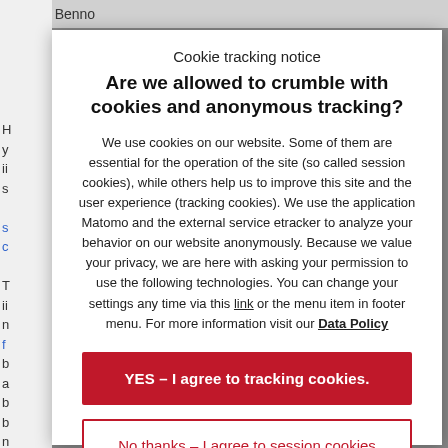by Benno
Cookie tracking notice
Are we allowed to crumble with cookies and anonymous tracking?
We use cookies on our website. Some of them are essential for the operation of the site (so called session cookies), while others help us to improve this site and the user experience (tracking cookies). We use the application Matomo and the external service etracker to analyze your behavior on our website anonymously. Because we value your privacy, we are here with asking your permission to use the following technologies. You can change your settings any time via this link or the menu item in footer menu. For more information visit our Data Policy
YES – I agree to tracking cookies.
No thanks – I agree to session cookies